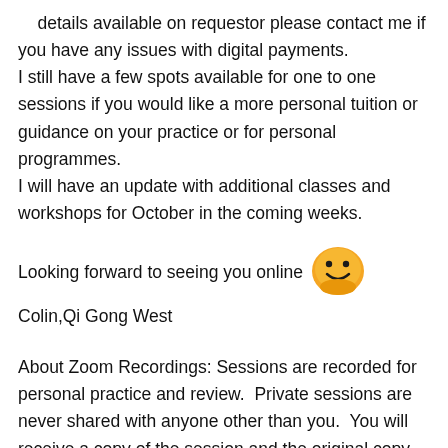details available on requestor please contact me if you have any issues with digital payments.
I still have a few spots available for one to one sessions if you would like a more personal tuition or guidance on your practice or for personal programmes.
I will have an update with additional classes and workshops for October in the coming weeks.
Looking forward to seeing you online 😊
Colin,Qi Gong West
About Zoom Recordings: Sessions are recorded for personal practice and review.  Private sessions are never shared with anyone other than you.  You will receive a copy of the session and the original copy will be deleted by me within 7 days.All group sessions are available for